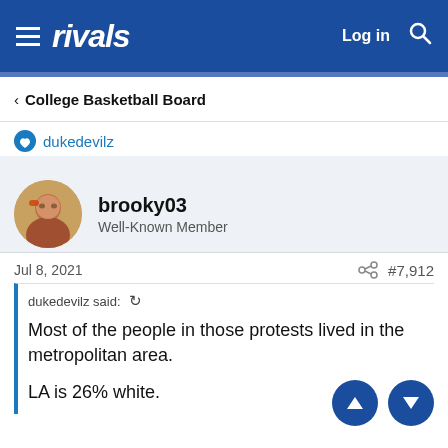rivals — Log in [search]
< College Basketball Board
dukedevilz
brooky03
Well-Known Member
Jul 8, 2021   #7,912
dukedevilz said:
Most of the people in those protests lived in the metropolitan area.
LA is 26% white.